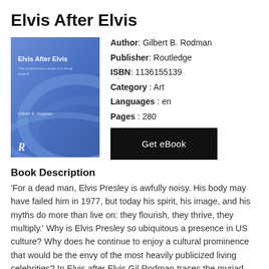Elvis After Elvis
[Figure (illustration): Book cover of 'Elvis After Elvis' by Gilbert B. Rodman, blue gradient background with title text and Routledge publisher logo]
Author: Gilbert B. Rodman
Publisher: Routledge
ISBN: 1136155139
Category: Art
Languages: en
Pages: 280
Get eBook
Book Description
'For a dead man, Elvis Presley is awfully noisy. His body may have failed him in 1977, but today his spirit, his image, and his myths do more than live on: they flourish, they thrive, they multiply.' Why is Elvis Presley so ubiquitous a presence in US culture? Why does he continue to enjoy a cultural prominence that would be the envy of the most heavily publicized living celebrities? In Elvis after Elvis Gil Rodman traces the myriad